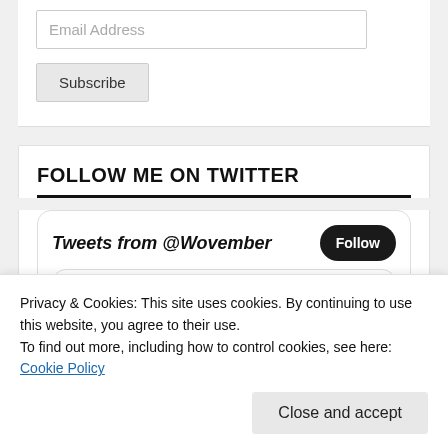Email Address
Subscribe
FOLLOW ME ON TWITTER
Tweets from @Wovember
Follow
Privacy & Cookies: This site uses cookies. By continuing to use this website, you agree to their use.
To find out more, including how to control cookies, see here: Cookie Policy
Close and accept